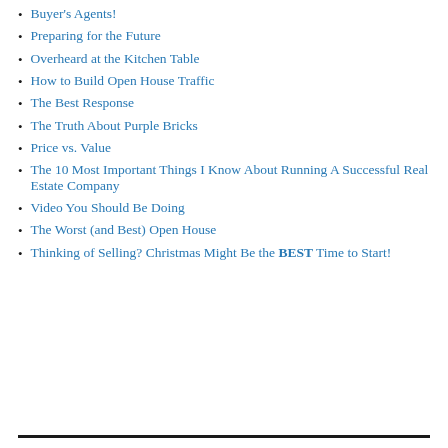Buyer's Agents!
Preparing for the Future
Overheard at the Kitchen Table
How to Build Open House Traffic
The Best Response
The Truth About Purple Bricks
Price vs. Value
The 10 Most Important Things I Know About Running A Successful Real Estate Company
Video You Should Be Doing
The Worst (and Best) Open House
Thinking of Selling? Christmas Might Be the BEST Time to Start!